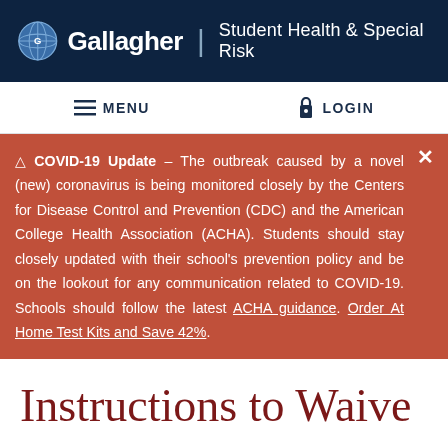Gallagher | Student Health & Special Risk
MENU   LOGIN
⚠ COVID-19 Update – The outbreak caused by a novel (new) coronavirus is being monitored closely by the Centers for Disease Control and Prevention (CDC) and the American College Health Association (ACHA). Students should stay closely updated with their school's prevention policy and be on the lookout for any communication related to COVID-19. Schools should follow the latest ACHA guidance. Order At Home Test Kits and Save 42%.
Instructions to Waive or